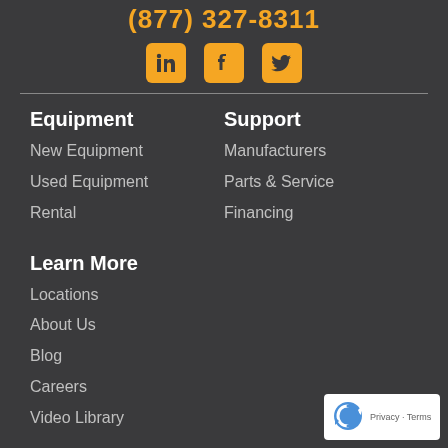(877) 327-8311
[Figure (logo): LinkedIn, Facebook, and Twitter social media icons in orange square buttons]
Equipment
New Equipment
Used Equipment
Rental
Support
Manufacturers
Parts & Service
Financing
Learn More
Locations
About Us
Blog
Careers
Video Library
[Figure (logo): reCAPTCHA badge with Privacy and Terms text]